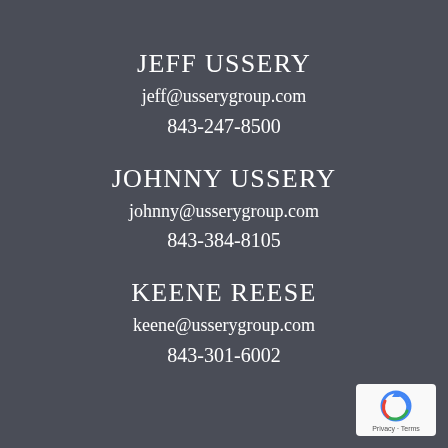JEFF USSERY
jeff@usserygroup.com
843-247-8500
JOHNNY USSERY
johnny@usserygroup.com
843-384-8105
KEENE REESE
keene@usserygroup.com
843-301-6002
[Figure (logo): reCAPTCHA badge with Privacy and Terms text]